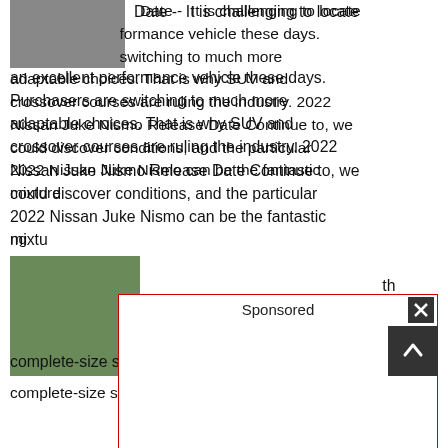[Figure (photo): Car image thumbnail at top left]
Date - It is challenging to locate an excellent performance vehicle these days. Purchasers are switching to much more adaptable choices. That is why SUV and crossover courses are ruling the industry. 2022 Nissan Juke Nismo Release Date Continue to, we could discover conditions, and the particular 2022 Nissan Juke Nismo can be the fantastic mixture... ing way t... th
New ... mor, Rede...
[Figure (photo): Car image at bottom left]
... hybrid complete-size sedan class is all set for a middle-
[Figure (other): Sponsored ad overlay with close button]